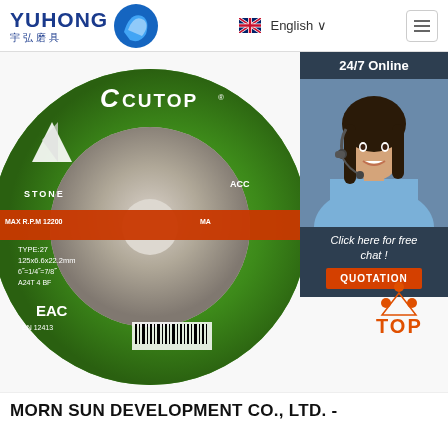[Figure (logo): YUHONG 宇弘磨具 company logo with blue wave/circle icon]
English
[Figure (photo): Green CUTOP abrasive grinding disc (stone type, TYPE 27, 125x6.6x22.2mm, A24T 4 BF, EN 12413) with red band, EAC marking, and barcode. Overlaid with a 24/7 Online chat panel featuring a female customer service representative photo and QUOTATION button.]
[Figure (logo): TOP scroll-to-top icon with orange dots and text]
MORN SUN DEVELOPMENT CO., LTD. -